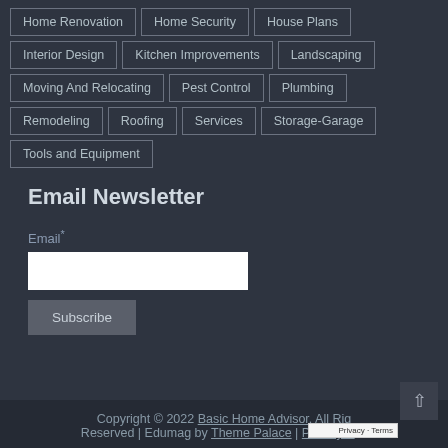Home Renovation
Home Security
House Plans
Interior Design
Kitchen Improvements
Landscaping
Moving And Relocating
Pest Control
Plumbing
Remodeling
Roofing
Services
Storage-Garage
Tools and Equipment
Email Newsletter
Email*
Subscribe
Copyright © 2022 Basic Home Advisor. All Rights Reserved | Edumag by Theme Palace | Privacy P...